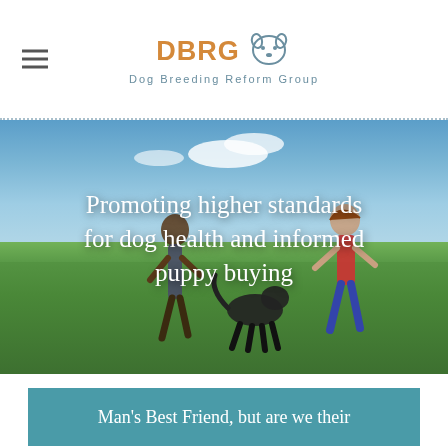DBRG Dog Breeding Reform Group
[Figure (photo): Hero photograph of two children and a black dog running together across a green field under a partly cloudy blue sky]
Promoting higher standards for dog health and informed puppy buying
Man's Best Friend, but are we their